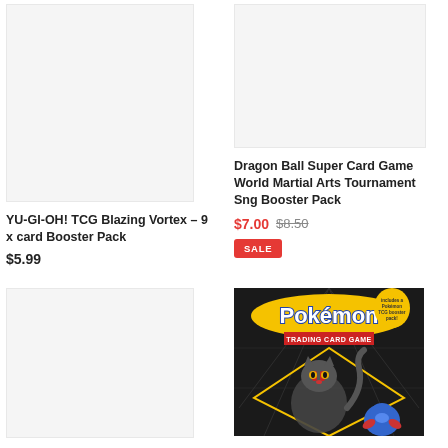[Figure (photo): Light grey placeholder image for YU-GI-OH! TCG Blazing Vortex booster pack product]
YU-GI-OH! TCG Blazing Vortex – 9 x card Booster Pack
$5.99
[Figure (photo): Light grey placeholder image for Dragon Ball Super Card Game World Martial Arts Tournament Sng Booster Pack]
Dragon Ball Super Card Game World Martial Arts Tournament Sng Booster Pack
$7.00  $8.50
SALE
[Figure (photo): Light grey placeholder image for a product in the bottom-left card]
[Figure (photo): Pokemon Trading Card Game box with Litten and other Pokemon characters visible, dark background]